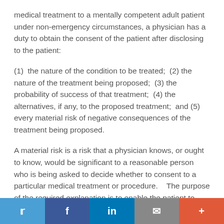medical treatment to a mentally competent adult patient under non-emergency circumstances, a physician has a duty to obtain the consent of the patient after disclosing to the patient:
(1)  the nature of the condition to be treated;  (2) the nature of the treatment being proposed;  (3) the probability of success of that treatment;  (4) the alternatives, if any, to the proposed treatment;  and (5) every material risk of negative consequences of the treatment being proposed.
A material risk is a risk that a physician knows, or ought to know, would be significant to a reasonable person who is being asked to decide whether to consent to a particular medical treatment or procedure.    The purpose of the required explanation is to enable the patient to make an intelligent and informed choice about whether to undergo
[Figure (other): Social sharing bar with Twitter, Facebook, LinkedIn, Email, and Plus buttons]